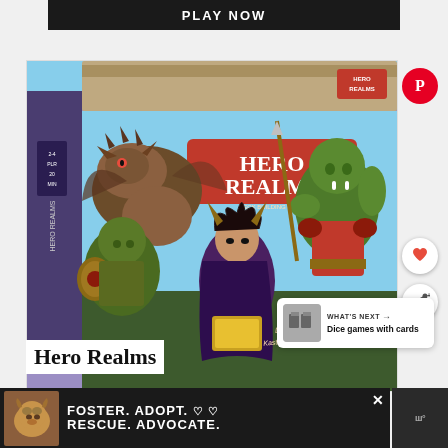PLAY NOW
[Figure (photo): Hero Realms board game box featuring fantasy characters including orcs, a sorceress, and a dragon. Box reads 'Hero Realms' with 'Designed by: Castle & Robert Dougherty']
Hero Realms
Designed by: Kastle & Robert Dougherty
WHAT'S NEXT → Dice games with cards
[Figure (infographic): Pinterest save button (red circle with P)]
[Figure (infographic): Heart/like button (white circle)]
[Figure (infographic): Share button (white circle with share icon)]
FOSTER. ADOPT. ♡ ♡ RESCUE. ADVOCATE.